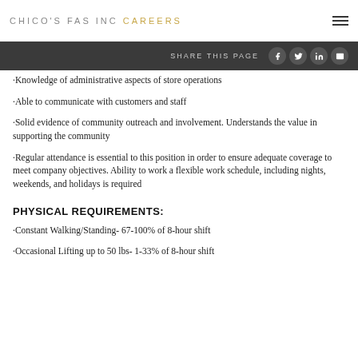CHICO'S FAS INC CAREERS
·Knowledge of administrative aspects of store operations
·Able to communicate with customers and staff
·Solid evidence of community outreach and involvement. Understands the value in supporting the community
·Regular attendance is essential to this position in order to ensure adequate coverage to meet company objectives. Ability to work a flexible work schedule, including nights, weekends, and holidays is required
PHYSICAL REQUIREMENTS:
·Constant Walking/Standing- 67-100% of 8-hour shift
·Occasional Lifting up to 50 lbs- 1-33% of 8-hour shift